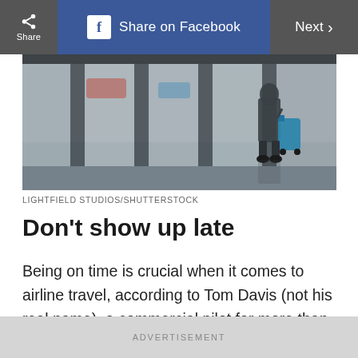[Figure (screenshot): Top toolbar with Share button, Share on Facebook button, and Next navigation button on dark background]
[Figure (photo): Airport interior scene showing a person with a blue suitcase walking near large windows with natural light]
LIGHTFIELD STUDIOS/SHUTTERSTOCK
Don’t show up late
Being on time is crucial when it comes to airline travel, according to Tom Davis (not his real name), a commercial pilot for more than two decades. When you show up late to the airport, you not only risk missing your flight, but you make the experience worse for other passengers and the
ADVERTISEMENT